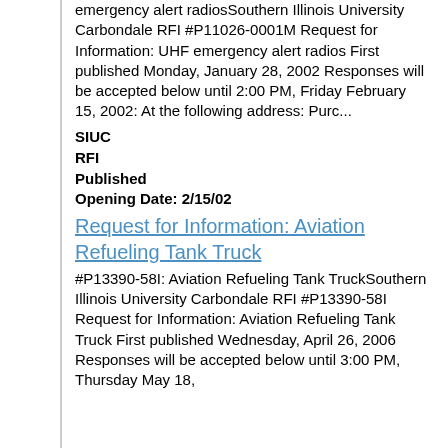emergency alert radiosSouthern Illinois University Carbondale RFI #P11026-0001M Request for Information: UHF emergency alert radios First published Monday, January 28, 2002 Responses will be accepted below until 2:00 PM, Friday February 15, 2002: At the following address: Purc...
SIUC
RFI
Published
Opening Date: 2/15/02
Request for Information: Aviation Refueling Tank Truck
#P13390-58I: Aviation Refueling Tank TruckSouthern Illinois University Carbondale RFI #P13390-58I Request for Information: Aviation Refueling Tank Truck First published Wednesday, April 26, 2006 Responses will be accepted below until 3:00 PM, Thursday May 18,